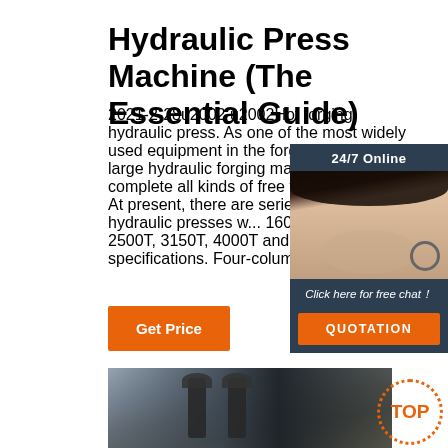Hydraulic Press Machine (The Essential Guide)
2021-2-28u2002·u2002Hot forging hydraulic press. As one of the most widely used equipment in the forging industry, the large hydraulic forging machine is able to complete all kinds of free forging technique. At present, there are series of forging hydraulic presses with 1600T, 2000T, 2500T, 3150T, 4000T and 5000T specifications. Four-column hydraulic press
[Figure (other): Customer service agent with headset, 24/7 Online chat widget with QUOTATION button]
[Figure (photo): Industrial hydraulic press machine in a factory setting]